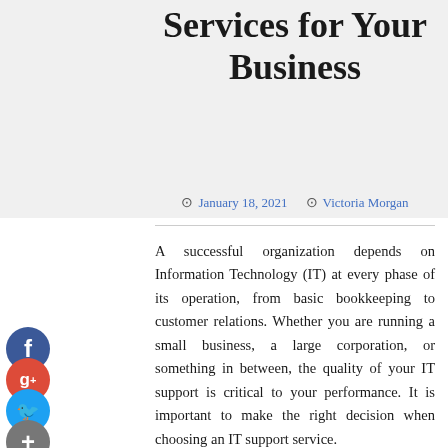Services for Your Business
January 18, 2021   Victoria Morgan
A successful organization depends on Information Technology (IT) at every phase of its operation, from basic bookkeeping to customer relations. Whether you are running a small business, a large corporation, or something in between, the quality of your IT support is critical to your performance. It is important to make the right decision when choosing an IT support service.